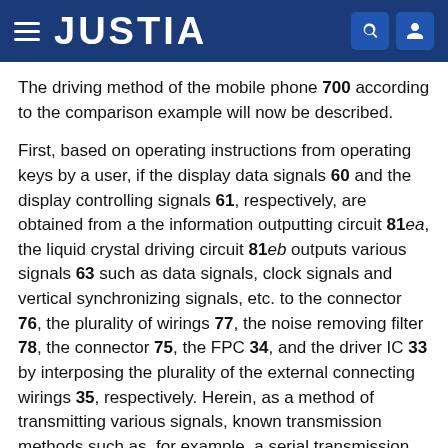JUSTIA
The driving method of the mobile phone 700 according to the comparison example will now be described.
First, based on operating instructions from operating keys by a user, if the display data signals 60 and the display controlling signals 61, respectively, are obtained from a the information outputting circuit 81ea, the liquid crystal driving circuit 81eb outputs various signals 63 such as data signals, clock signals and vertical synchronizing signals, etc. to the connector 76, the plurality of wirings 77, the noise removing filter 78, the connector 75, the FPC 34, and the driver IC 33 by interposing the plurality of the external connecting wirings 35, respectively. Herein, as a method of transmitting various signals, known transmission methods such as, for example, a serial transmission method, a parallel transmission method capable of